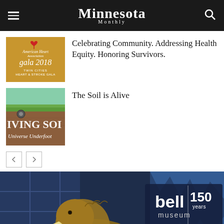Minnesota Monthly
[Figure (screenshot): Gala 2018 Twin Cities Heart & Stroke Gala thumbnail on gold/orange background with American Heart Association logo]
Celebrating Community. Addressing Health Equity. Honoring Survivors.
[Figure (screenshot): Living Soil Universe Underfoot exhibit thumbnail with green/soil imagery]
The Soil is Alive
[Figure (screenshot): Bell Museum 150 years - photo of woolly mammoth display with museum interior]